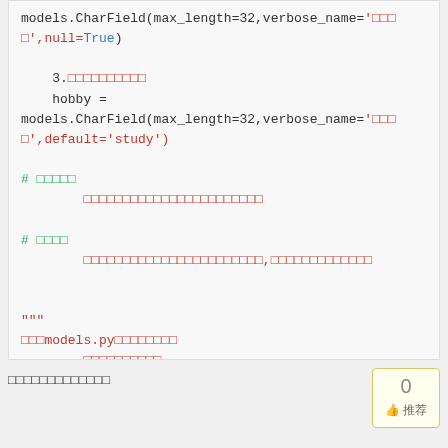models.CharField(max_length=32,verbose_name='□□□□',null=True)

    3.□□□□□□□□□□
    hobby =
models.CharField(max_length=32,verbose_name='□□□□',default='study')

# □□□□□
        □□□□□□□□□□□□□□□□□□□□□□□

# □□□□
        □□□□□□□□□□□□□□□□□□□□□□□,□□□□□□□□□□□□□


"""
□□□models.py□□□□□□□□
        □□□□□□□□□□
        □□□□□□□□□□□□□□□□□□□□
"""

# □□□□□:□□□□□□□□□□□□□□□
□□□□□□□□□□□□□
0 推荐